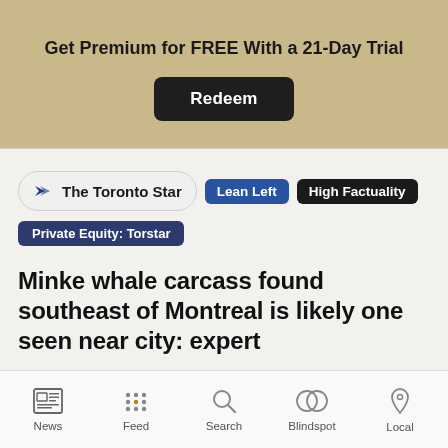Get Premium for FREE With a 21-Day Trial
Redeem
The Toronto Star  Lean Left  High Factuality
Private Equity: Torstar
Minke whale carcass found southeast of Montreal is likely one seen near city: expert
MONTREAL - A researcher says a dead whale found today in the St. Lawrence River southeast of Montreal is probably one of two minke whales seen near th
News  Feed  Search  Blindspot  Local